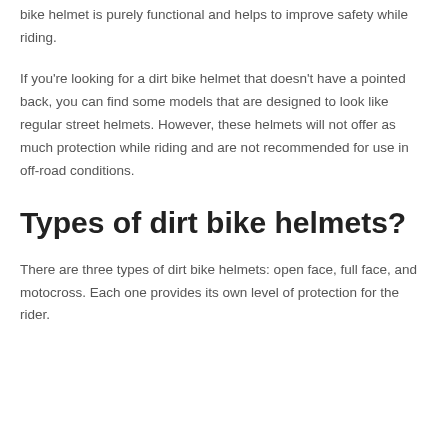bike helmet is purely functional and helps to improve safety while riding.
If you're looking for a dirt bike helmet that doesn't have a pointed back, you can find some models that are designed to look like regular street helmets. However, these helmets will not offer as much protection while riding and are not recommended for use in off-road conditions.
Types of dirt bike helmets?
There are three types of dirt bike helmets: open face, full face, and motocross. Each one provides its own level of protection for the rider.